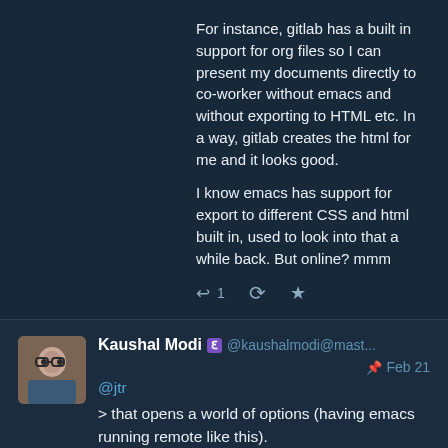For instance, gitlab has a built in support for org files so I can present my documents directly to co-worker without emacs and without exporting to HTML etc. In a way, gitlab creates the html for me and it looks good.

I know emacs has support for export to different CSS and html built in, used to look into that a while back. But online? mmm
Kaushal Modi @kaushalmodi@mast... Feb 21
@jtr

> that opens a world of options (having emacs running remote like this).

Yep, I remember that feeling when I realized that for the first time as well. 😀